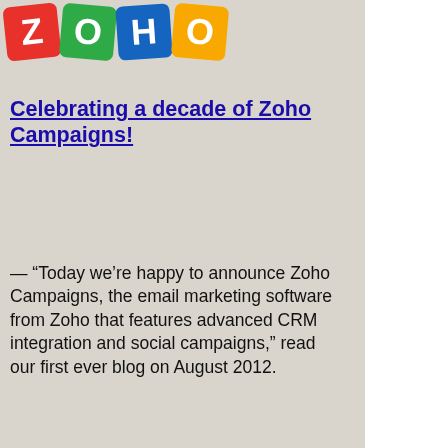[Figure (logo): Zoho logo: colorful letter blocks Z (red), O (green), H (blue), O (yellow) arranged in a row]
Celebrating a decade of Zoho Campaigns!
— “Today we’re happy to announce Zoho Campaigns, the email marketing software from Zoho that features advanced CRM integration and social campaigns,” read our first ever blog on August 2012.
MicroAcquire:
[Figure (logo): MICROACQUIRE logo in large dark navy bold text]
New opportunities are waiting